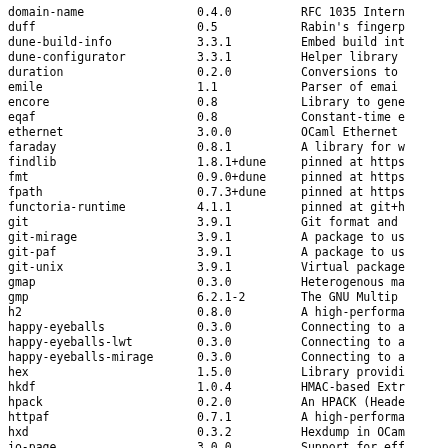| Package | Version | Description |
| --- | --- | --- |
| domain-name | 0.4.0 | RFC 1035 Intern |
| duff | 0.5 | Rabin's fingerp |
| dune-build-info | 3.3.1 | Embed build int |
| dune-configurator | 3.3.1 | Helper library |
| duration | 0.2.0 | Conversions to |
| emile | 1.1 | Parser of emai |
| encore | 0.8 | Library to gene |
| eqaf | 0.8 | Constant-time e |
| ethernet | 3.0.0 | OCaml Ethernet |
| faraday | 0.8.1 | A library for w |
| findlib | 1.8.1+dune | pinned at https |
| fmt | 0.9.0+dune | pinned at https |
| fpath | 0.7.3+dune | pinned at https |
| functoria-runtime | 4.1.1 | pinned at git+h |
| git | 3.9.1 | Git format and |
| git-mirage | 3.9.1 | A package to us |
| git-paf | 3.9.1 | A package to us |
| git-unix | 3.9.1 | Virtual package |
| gmap | 0.3.0 | Heterogenous ma |
| gmp | 6.2.1-2 | The GNU Multip |
| h2 | 0.8.0 | A high-performa |
| happy-eyeballs | 0.3.0 | Connecting to a |
| happy-eyeballs-lwt | 0.3.0 | Connecting to a |
| happy-eyeballs-mirage | 0.3.0 | Connecting to a |
| hex | 1.5.0 | Library providi |
| hkdf | 1.0.4 | HMAC-based Extr |
| hpack | 0.2.0 | An HPACK (Heade |
| httpaf | 0.7.1 | A high-performa |
| hxd | 0.3.2 | Hexdump in OCam |
| io-page | 3.0.0 | Support for eff |